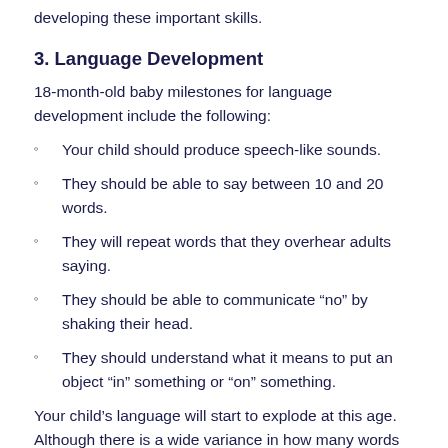developing these important skills.
3. Language Development
18-month-old baby milestones for language development include the following:
Your child should produce speech-like sounds.
They should be able to say between 10 and 20 words.
They will repeat words that they overhear adults saying.
They should be able to communicate “no” by shaking their head.
They should understand what it means to put an object “in” something or “on” something.
Your child’s language will start to explode at this age. Although there is a wide variance in how many words an individual child can say around 18 months, the normal target is 10 to 20